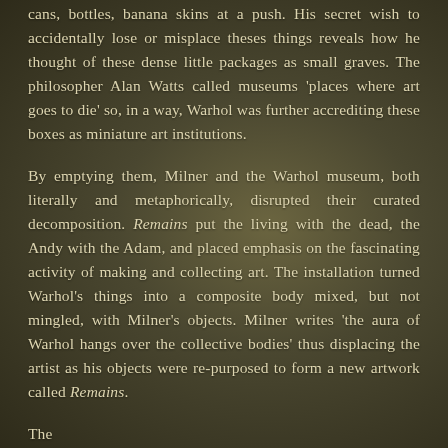cans, bottles, banana skins at a push. His secret wish to accidentally lose or misplace theses things reveals how he thought of these dense little packages as small graves. The philosopher Alan Watts called museums 'places where art goes to die' so, in a way, Warhol was further accrediting these boxes as miniature art institutions.
By emptying them, Milner and the Warhol museum, both literally and metaphorically, disrupted their curated decomposition. Remains put the living with the dead, the Andy with the Adam, and placed emphasis on the fascinating activity of making and collecting art. The installation turned Warhol's things into a composite body mixed, but not mingled, with Milner's objects. Milner writes 'the aura of Warhol hangs over the collective bodies' thus displacing the artist as his objects were re-purposed to form a new artwork called Remains.
The...